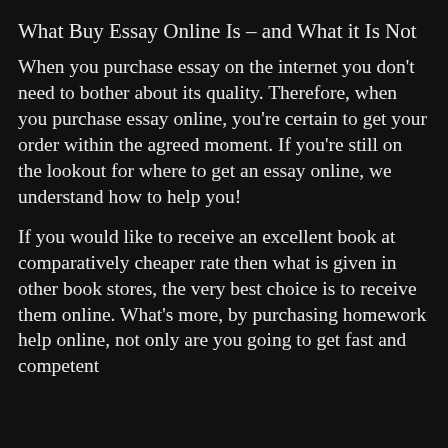What Buy Essay Online Is – and What it Is Not
When you purchase essay on the internet you don't need to bother about its quality. Therefore, when you purchase essay online, you're certain to get your order within the agreed moment. If you're still on the lookout for where to get an essay online, we understand how to help you!
If you would like to receive an excellent book at comparatively cheaper rate then what is given in other book stores, the very best choice is to receive them online. What's more, by purchasing homework help online, not only are you going to get fast and competent